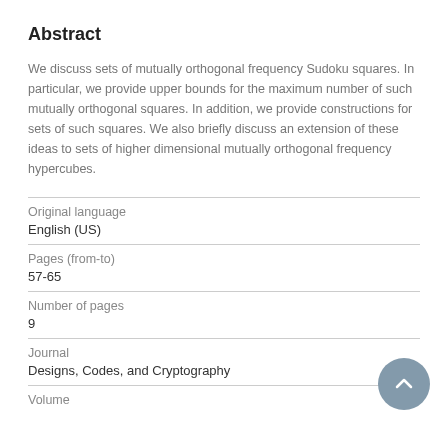Abstract
We discuss sets of mutually orthogonal frequency Sudoku squares. In particular, we provide upper bounds for the maximum number of such mutually orthogonal squares. In addition, we provide constructions for sets of such squares. We also briefly discuss an extension of these ideas to sets of higher dimensional mutually orthogonal frequency hypercubes.
| Field | Value |
| --- | --- |
| Original language | English (US) |
| Pages (from-to) | 57-65 |
| Number of pages | 9 |
| Journal | Designs, Codes, and Cryptography |
| Volume |  |